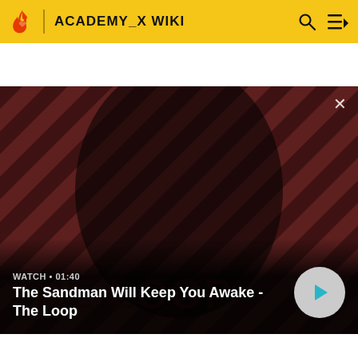ACADEMY_X WIKI
[Figure (screenshot): Hero video thumbnail showing a dark-clad figure with a raven on shoulder against a diagonal red and dark stripe background. Text overlay shows WATCH · 01:40 and title 'The Sandman Will Keep You Awake - The Loop' with a play button.]
WATCH · 01:40
The Sandman Will Keep You Awake - The Loop
MORE ACADEMY_X WIKI
1  Ginger Fitzgerald